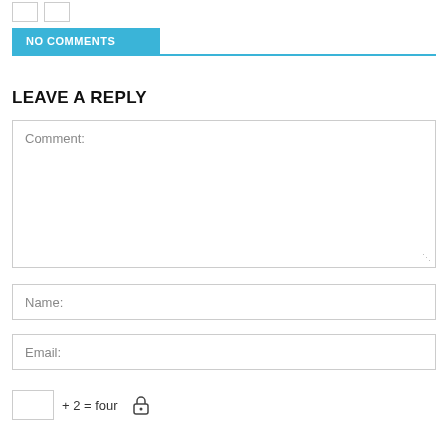[Figure (other): Two small checkbox/button UI elements at the top left]
NO COMMENTS
LEAVE A REPLY
Comment:
Name:
Email:
+ 2 = four
[Figure (other): Lock/captcha icon]